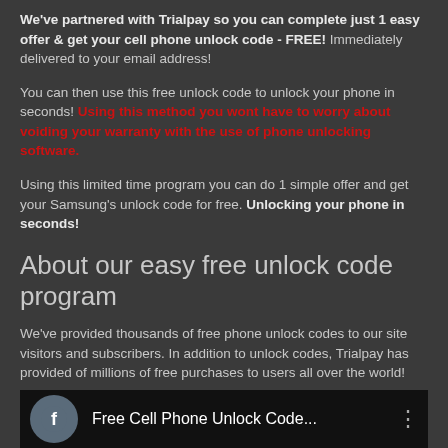We've partnered with Trialpay so you can complete just 1 easy offer & get your cell phone unlock code - FREE! Immediately delivered to your email address!
You can then use this free unlock code to unlock your phone in seconds! Using this method you wont have to worry about voiding your warranty with the use of phone unlocking software.
Using this limited time program you can do 1 simple offer and get your Samsung's unlock code for free. Unlocking your phone in seconds!
About our easy free unlock code program
We've provided thousands of free phone unlock codes to our site visitors and subscribers. In addition to unlock codes, Trialpay has provided of millions of free purchases to users all over the world!
Getting your free unlock code is as simple as:
[Figure (screenshot): Video bar showing a Facebook icon and the title 'Free Cell Phone Unlock Code...' with a menu icon on the right, on a dark background]